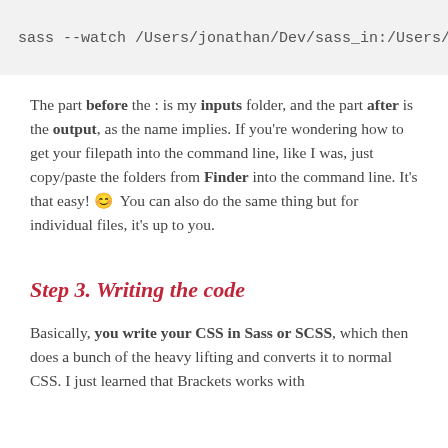[Figure (screenshot): Code block with monospace text showing: sass --watch /Users/jonathan/Dev/sass_in:/Users/]
The part before the : is my inputs folder, and the part after is the output, as the name implies. If you're wondering how to get your filepath into the command line, like I was, just copy/paste the folders from Finder into the command line. It's that easy! 😊  You can also do the same thing but for individual files, it's up to you.
Step 3. Writing the code
Basically, you write your CSS in Sass or SCSS, which then does a bunch of the heavy lifting and converts it to normal CSS. I just learned that Brackets works with